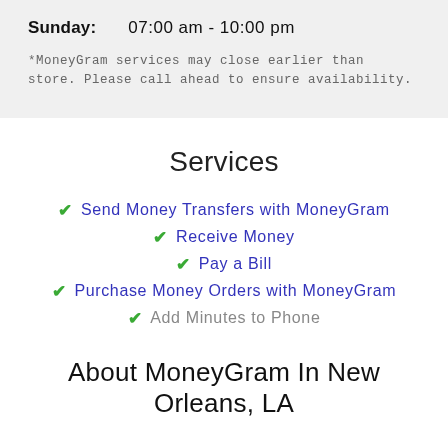Sunday:   07:00 am - 10:00 pm
*MoneyGram services may close earlier than store. Please call ahead to ensure availability.
Services
Send Money Transfers with MoneyGram
Receive Money
Pay a Bill
Purchase Money Orders with MoneyGram
Add Minutes to Phone
About MoneyGram In New Orleans, LA